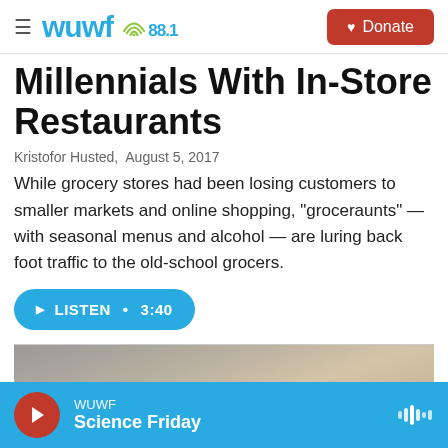WUWF 88.1 — Donate
Millennials With In-Store Restaurants
Kristofor Husted,  August 5, 2017
While grocery stores had been losing customers to smaller markets and online shopping, "groceraunts" — with seasonal menus and alcohol — are luring back foot traffic to the old-school grocers.
[Figure (other): Listen audio button: LISTEN • 3:40]
[Figure (photo): Partial photo of food/grocery item, cropped at bottom]
WUWF Science Friday